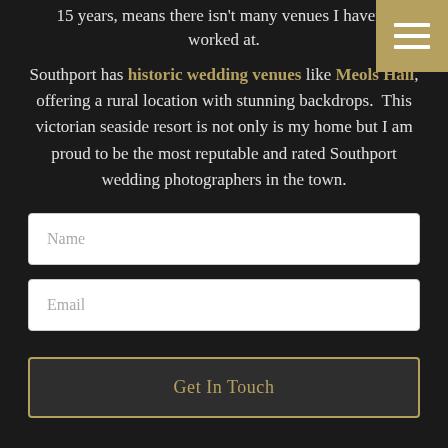15 years, means there isn't many venues I haven't worked at.
Southport has historic wedding venues like Meols Hall, offering a rural location with stunning backdrops. This victorian seaside resort is not only is my home but I am proud to be the most reputable and rated Southport wedding photographers in the town.
Name
Email
Get In Touch